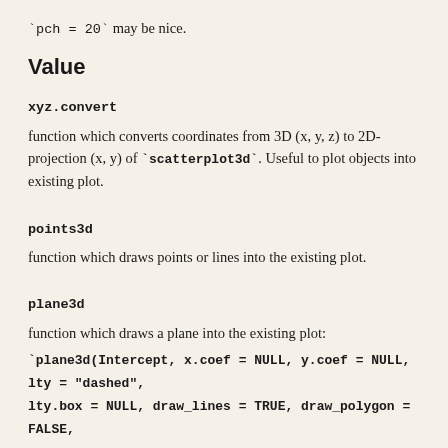`pch = 20` may be nice.
Value
xyz.convert
function which converts coordinates from 3D (x, y, z) to 2D-projection (x, y) of `scatterplot3d`. Useful to plot objects into existing plot.
points3d
function which draws points or lines into the existing plot.
plane3d
function which draws a plane into the existing plot:
`plane3d(Intercept, x.coef = NULL, y.coef = NULL, lty = "dashed", lty.box = NULL, draw_lines = TRUE, draw_polygon = FALSE, polygon_args = list(border = NA, col = rgb(0,0,0,0.2)), ...)`. Instead of `Intercept` a vector containing 3 elements or an (g)lm object can be specified. The argument `lty.box` allows to set a different line style for the intersecting lines in the box's walls. The